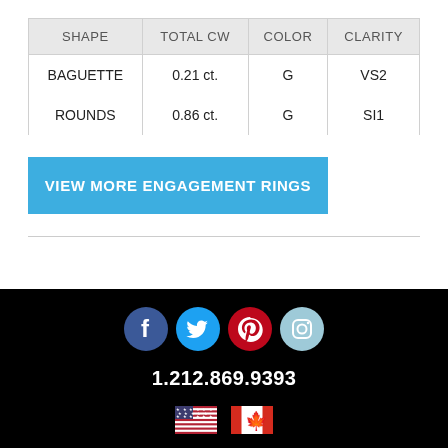| SHAPE | TOTAL CW | COLOR | CLARITY |
| --- | --- | --- | --- |
| BAGUETTE | 0.21 ct. | G | VS2 |
| ROUNDS | 0.86 ct. | G | SI1 |
VIEW MORE ENGAGEMENT RINGS
[Figure (infographic): Social media icons: Facebook, Twitter, Pinterest, Instagram]
1.212.869.9393
[Figure (illustration): US flag and Canadian flag icons]